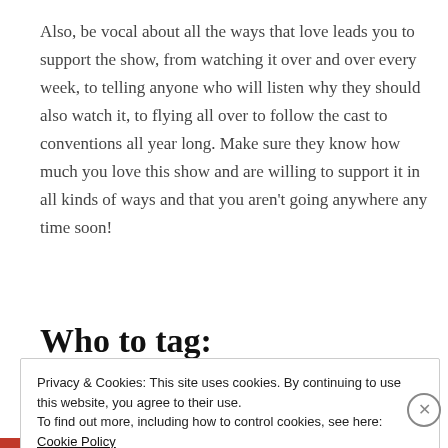Also, be vocal about all the ways that love leads you to support the show, from watching it over and over every week, to telling anyone who will listen why they should also watch it, to flying all over to follow the cast to conventions all year long. Make sure they know how much you love this show and are willing to support it in all kinds of ways and that you aren't going anywhere any time soon!
Who to tag:
Privacy & Cookies: This site uses cookies. By continuing to use this website, you agree to their use. To find out more, including how to control cookies, see here: Cookie Policy
Close and accept